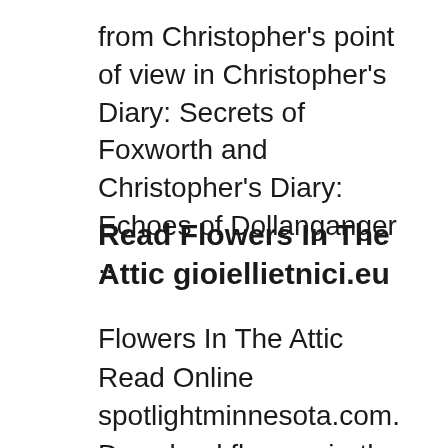from Christopher's point of view in Christopher's Diary: Secrets of Foxworth and Christopher's Diary: Echoes of Dollanganger ..
Read Flowers In The Attic gioiellietnici.eu
Flowers In The Attic Read Online spotlightminnesota.com. Download flowers-in-the-attic or read flowers-in-the-attic online books in PDF, EPUB and Mobi Format. Click Download or Read Online button to get flowers-in-the-attic book now. This site is like a library, Use search box in the widget to get ebook that you want., FLOWERS IN THE ATTIC Download Flowers In The Attic book